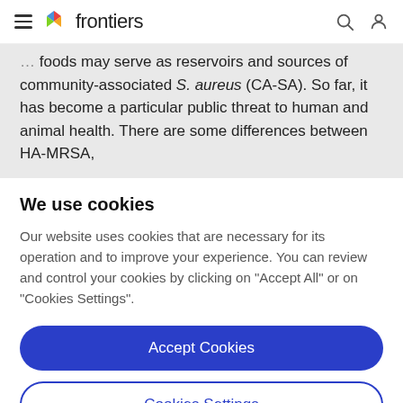frontiers
foods may serve as reservoirs and sources of community-associated S. aureus (CA-SA). So far, it has become a particular public threat to human and animal health. There are some differences between HA-MRSA,
We use cookies
Our website uses cookies that are necessary for its operation and to improve your experience. You can review and control your cookies by clicking on "Accept All" or on "Cookies Settings".
Accept Cookies
Cookies Settings